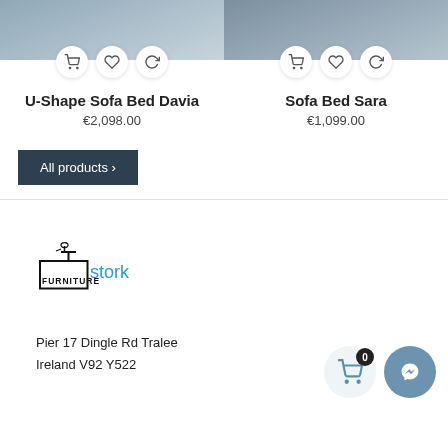[Figure (photo): Product photo top portion of U-Shape Sofa Bed Davia]
[Figure (photo): Product photo top portion of Sofa Bed Sara]
U-Shape Sofa Bed Davia
€2,098.00
Sofa Bed Sara
€1,099.00
All products ›
[Figure (logo): Stork Furniture logo with stork icon graphic and text 'stork FURNITURE']
Pier 17 Dingle Rd Tralee
Ireland V92 Y522